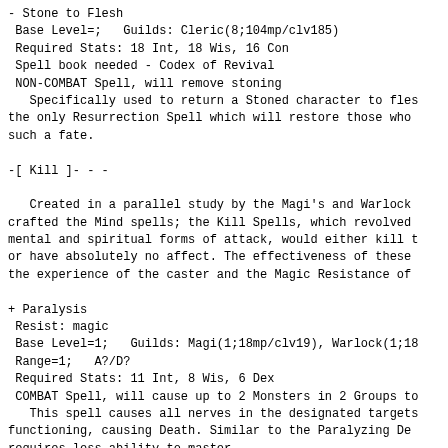- Stone to Flesh
 Base Level=;   Guilds: Cleric(8;104mp/clv185)
 Required Stats: 18 Int, 18 Wis, 16 Con
 Spell book needed - Codex of Revival
 NON-COMBAT Spell, will remove stoning
   Specifically used to return a Stoned character to fles
the only Resurrection Spell which will restore those who
such a fate.
-[ Kill ]- - -
Created in a parallel study by the Magi's and Warlock
crafted the Mind spells; the Kill Spells, which revolved
mental and spiritual forms of attack, would either kill t
or have absolutely no affect. The effectiveness of these
the experience of the caster and the Magic Resistance of
+ Paralysis
 Resist: magic
 Base Level=1;   Guilds: Magi(1;18mp/clv19), Warlock(1;18
 Range=1;   A?/D?
 Required Stats: 11 Int, 8 Wis, 6 Dex
 COMBAT Spell, will cause up to 2 Monsters in 2 Groups to
   This spell causes all nerves in the designated targets
functioning, causing Death. Similar to the Paralyzing De
requires less ability to master.
+ Life Shatter